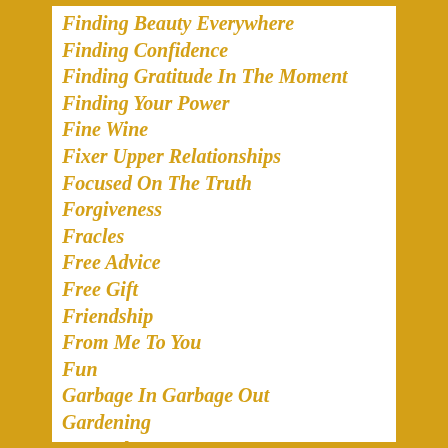Finding Beauty Everywhere
Finding Confidence
Finding Gratitude In The Moment
Finding Your Power
Fine Wine
Fixer Upper Relationships
Focused On The Truth
Forgiveness
Fracles
Free Advice
Free Gift
Friendship
From Me To You
Fun
Garbage In Garbage Out
Gardening
General
Girl Power